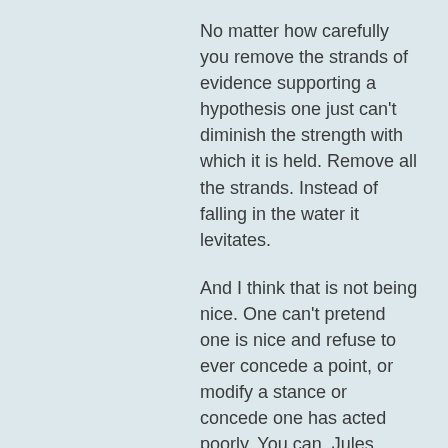No matter how carefully you remove the strands of evidence supporting a hypothesis one just can't diminish the strength with which it is held. Remove all the strands. Instead of falling in the water it levitates.
And I think that is not being nice. One can't pretend one is nice and refuse to ever concede a point, or modify a stance or concede one has acted poorly. You can. Jules could circa 2008 his politics and philosophy seemed to have hardened since then. I took a shine to Emmjay at Unleashed cause he could.
If you missed it if shows it was to tangential. Again. Communication fail. My fault. But murder? For gods sake!
I will note that I think Jules is unfairly targeted. In my estimation he is singled out for behavior that is general and I think this